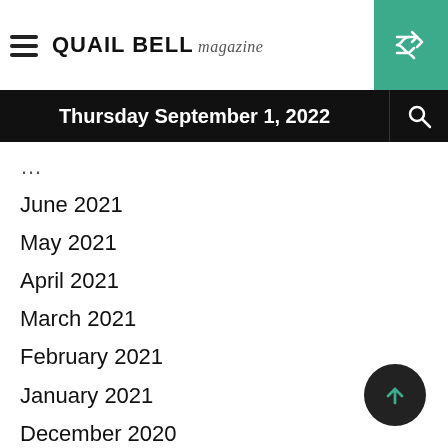Quail Bell magazine — Thursday September 1, 2022
June 2021
May 2021
April 2021
March 2021
February 2021
January 2021
December 2020
November 2020
October 2020
September 2020
August 2020
July 2020
June 2020
May 2020
April 2020